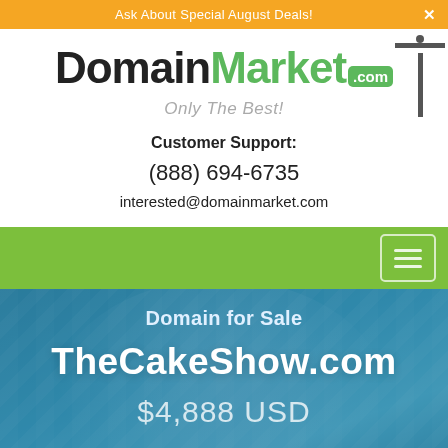Ask About Special August Deals!
[Figure (logo): DomainMarket.com logo with green .com badge and sign post, tagline 'Only The Best!']
Customer Support:
(888) 694-6735
interested@domainmarket.com
[Figure (screenshot): Green navigation bar with hamburger menu icon on the right]
Domain for Sale
TheCakeShow.com
$4,888 USD